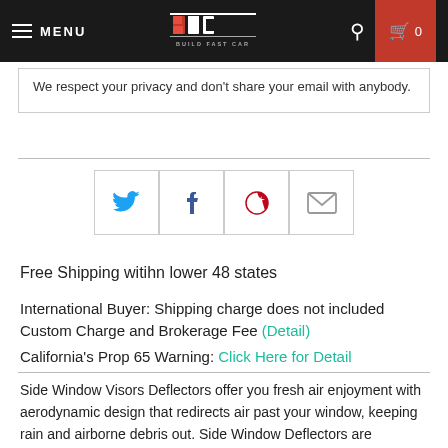MENU | BFC Build Fast Car | Search | Cart 0
We respect your privacy and don't share your email with anybody.
[Figure (other): Social sharing buttons: Twitter, Facebook, Pinterest, Email]
Free Shipping witihn lower 48 states
International Buyer: Shipping charge does not included Custom Charge and Brokerage Fee (Detail)
California's Prop 65 Warning: Click Here for Detail
Side Window Visors Deflectors offer you fresh air enjoyment with aerodynamic design that redirects air past your window, keeping rain and airborne debris out. Side Window Deflectors are precision-machined to fit your vehicle. These